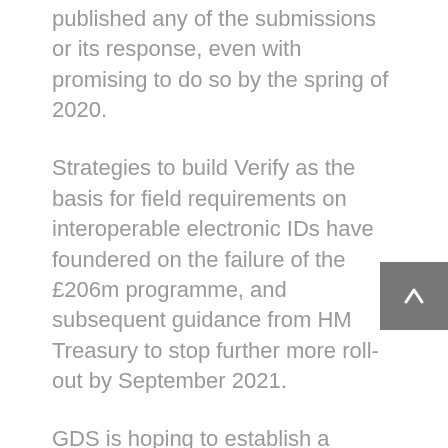published any of the submissions or its response, even with promising to do so by the spring of 2020.
Strategies to build Verify as the basis for field requirements on interoperable electronic IDs have foundered on the failure of the £206m programme, and subsequent guidance from HM Treasury to stop further more roll-out by September 2021.
GDS is hoping to establish a successor venture, the Identification and Characteristics Trade (IAX), as the foundation for an business standard, but the prepare has satisfied with scepticism from sector stakeholders.
“Enabling electronic id verification across all sectors would be a major action to introducing interoperable and reusable electronic identities for use in both federal government and the non-public sector,” explained the letter to Dowden, citing McKinsey figures